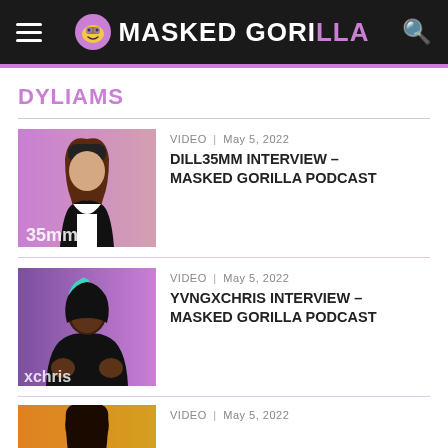MASKED GORILLA
DYLIAMS
VIDEO | May 5, 2022
DILL35MM INTERVIEW – MASKED GORILLA PODCAST
[Figure (photo): Photo of Dill35mm, a person with long brown hair wearing a black varsity jacket, against a pink/purple gradient background. Text '35mm' visible at bottom.]
VIDEO | May 5, 2022
YVNGXCHRIS INTERVIEW – MASKED GORILLA PODCAST
[Figure (photo): Photo of YvngXChris, a young man with teal streaks in hair wearing a black hoodie, making hand gestures, against a purple background. Text 'xchris' visible at bottom.]
VIDEO | May 5, 2022
[Figure (photo): Partial photo of a person with long hair against a yellow/orange background, partially visible at page bottom.]